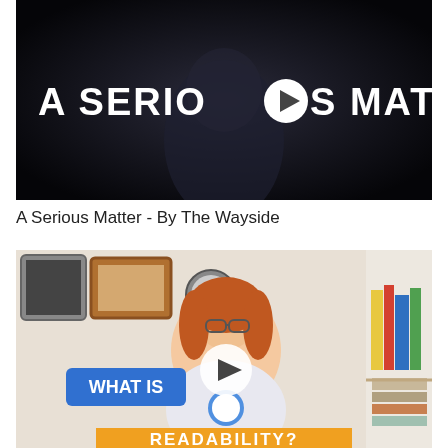[Figure (screenshot): Video thumbnail for 'A Serious Matter' showing a dark moody image of a person with white text overlay reading 'A SERIOUS MATTER' and a play button icon replacing the 'U' in 'SERIOUS'. Dark/black background with blurred figure.]
A Serious Matter - By The Wayside
[Figure (screenshot): Video thumbnail showing a woman with red/auburn hair and glasses smiling, standing in front of a wall with picture frames. There is a blue sign reading 'WHAT IS' on the left and a play button icon in the center. At the bottom the text 'READABILITY?' is partially visible in orange/yellow. A bookshelf is visible on the right.]